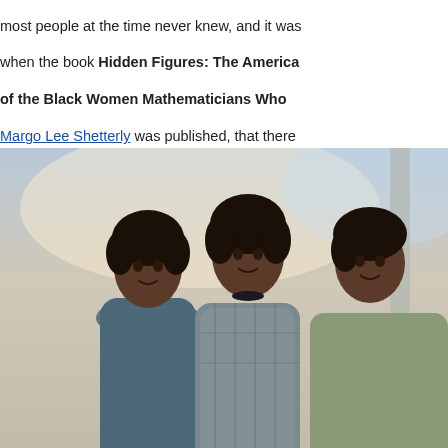most people at the time never knew, and it was when the book Hidden Figures: The American Dream and the Untold Story of the Black Women Mathematicians Who Helped Win the Space Race by Margo Lee Shetterly was published, that there were missions. The movie Hidden Figures (1916) book was released and detailed the important work performed to make the manned missions suc...
[Figure (photo): Movie poster or promotional still for Hidden Figures showing three Black women in 1960s attire standing together. Identified as Janelle Monáe (Mary Jackson), Taraji P. Henson (Katherine Johnson), and Octavia Spencer (Dorthy Vaughan), left to right.]
Hidden Figures stars, Janelle Monáe (Mary Jackson), Taraji P. Henson (Katherine Johnson), and Octavia Spencer (Dorthy Vaughan), (L-R)
I just viewed the movie Apollo 11 a few days...